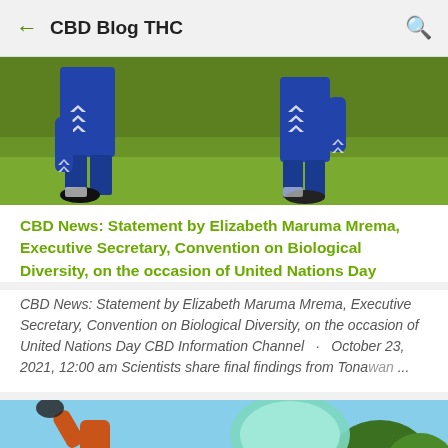CBD Blog THC
[Figure (photo): Two people in blue hummel soccer jerseys stretching on a grass field, lower body view]
CBD News: Statement by Elizabeth Maruma Mrema, Executive Secretary, Convention on Biological Diversity, on the occasion of United Nations Day
CBD News: Statement by Elizabeth Maruma Mrema, Executive Secretary, Convention on Biological Diversity, on the occasion of United Nations Day CBD Information Channel  ·  October 23, 2021, 12:00 am Scientists share final findings from Tonawan…
[Figure (photo): Person outdoors holding signs or objects, blue sky and trees in background]